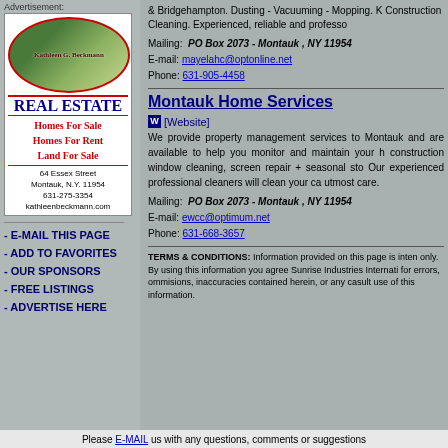[Figure (illustration): Kathleen G. Beckmann Real Estate advertisement with oval logo, homes for sale/rent, land for sale, contact info]
- E-MAIL THIS PAGE
- ADD TO FAVORITES
- OUR SPONSORS
- FREE LISTINGS
- ADVERTISE HERE
& Bridgehampton. Dusting - Vacuuming - Mopping. K Construction Cleaning. Experienced, reliable and professo
Mailing: PO Box 2073 - Montauk , NY 11954
E-mail: mayelahc@optonline.net
Phone: 631-905-4458
Montauk Home Services
[Website]
We provide property management services to Montauk and are available to help you monitor and maintain your h construction window cleaning, screen repair + seasonal sto Our experienced professional cleaners will clean your ca utmost care.
Mailing: PO Box 2073 - Montauk , NY 11954
E-mail: ewcc@optimum.net
Phone: 631-668-3657
TERMS & CONDITIONS: Information provided on this page is inten only. By using this information you agree Sunrise Industries Internati for errors, ommisions, inaccuracies contained herein, or any casult use of this information.
Please E-MAIL us with any questions, comments or suggestions